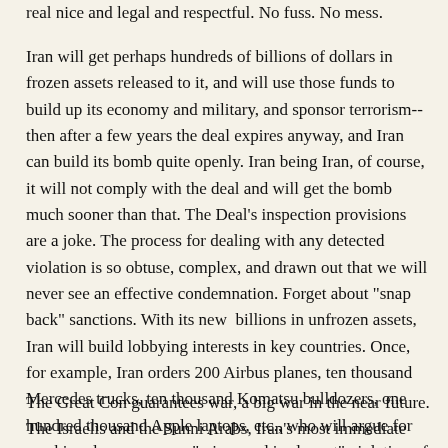real nice and legal and respectful. No fuss. No mess.
Iran will get perhaps hundreds of billions of dollars in frozen assets released to it, and will use those funds to build up its economy and military, and sponsor terrorism--then after a few years the deal expires anyway, and Iran can build its bomb quite openly. Iran being Iran, of course, it will not comply with the deal and will get the bomb much sooner than that. The Deal's inspection provisions are a joke. The process for dealing with any detected violation is so obtuse, complex, and drawn out that we will never see an effective condemnation. Forget about "snap back" sanctions. With its new billions in unfrozen assets, Iran will build lobbying interests in key countries. Once, for example, Iran orders 200 Airbus planes, ten thousand Mercedes trucks, ten thousand Komatsu bulldozers, one hundred thousand Apple laptops, etc., who will argue for cracking down on some "minor and irrelevant" violation of The Great Deal? From what powerful sectors will those calls come? The Iranians know that the West will not do anything. The West has gone into retreat mode.
The Great Con guarantees war, a big war in the near future. The Israelis and the Sunni Arabs, Iran's most immediate foes, got cut